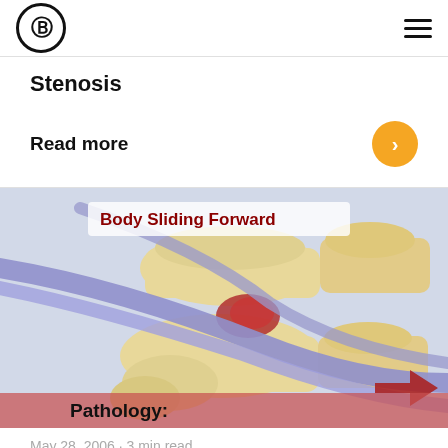g logo | hamburger menu
Stenosis
Read more
[Figure (illustration): Medical illustration of vertebral body sliding forward with nerve roots, labeled 'Body Sliding Forward' at top and 'Pathology:' at bottom. Shows spinal anatomy with vertebrae, nerve roots (purple/lavender), red highlighted compression area, and a red arrow pointing right.]
May 28, 2006 · 3 min read